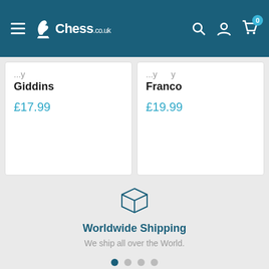Chess.co.uk
Giddins
£17.99
Franco
£19.99
[Figure (illustration): Package/box shipping icon outline in dark teal]
Worldwide Shipping
We ship all over the World.